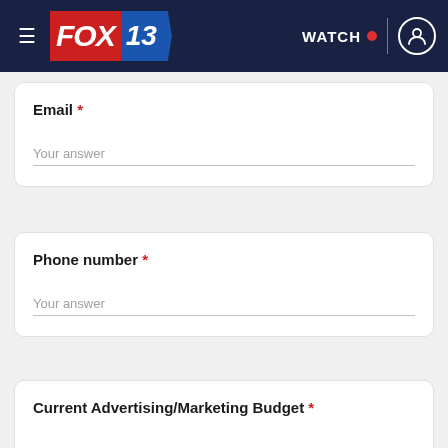FOX 13 — WATCH
Email *
Your answer
Phone number *
Your answer
Current Advertising/Marketing Budget *